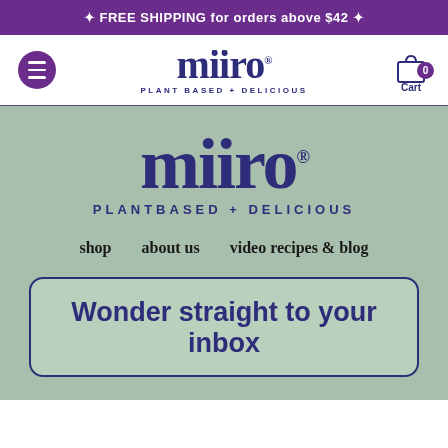✦ FREE SHIPPING for orders above $42 ✦
[Figure (screenshot): miiro brand navigation bar with hamburger menu, miiro logo (PLANT BASED + DELICIOUS), and cart icon with 0 items]
[Figure (logo): miiro logo large — PLANTBASED + DELICIOUS — on sage green background]
shop   about us   video recipes & blog
Wonder straight to your inbox